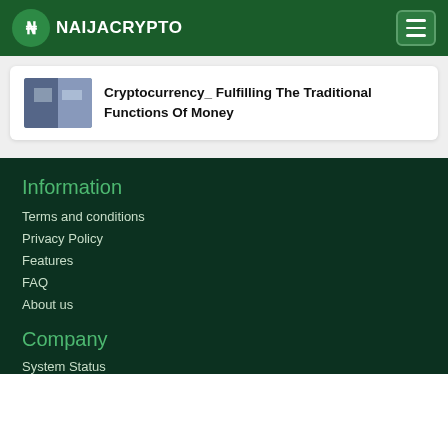NAIJACRYPTO
Cryptocurrency_ Fulfilling The Traditional Functions Of Money
Information
Terms and conditions
Privacy Policy
Features
FAQ
About us
Company
System Status